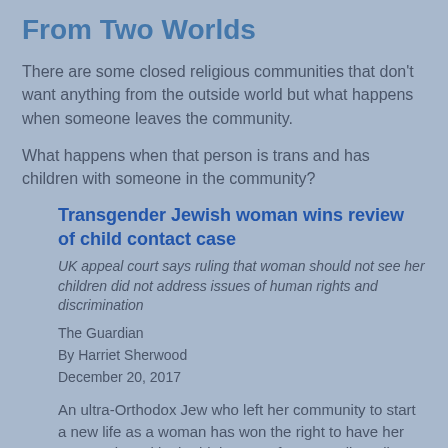From Two Worlds
There are some closed religious communities that don't want anything from the outside world but what happens when someone leaves the community.
What happens when that person is trans and has children with someone in the community?
Transgender Jewish woman wins review of child contact case
UK appeal court says ruling that woman should not see her children did not address issues of human rights and discrimination
The Guardian
By Harriet Sherwood
December 20, 2017
An ultra-Orthodox Jew who left her community to start a new life as a woman has won the right to have her case reviewed in the high court after an earlier ruling that she should have no direct...